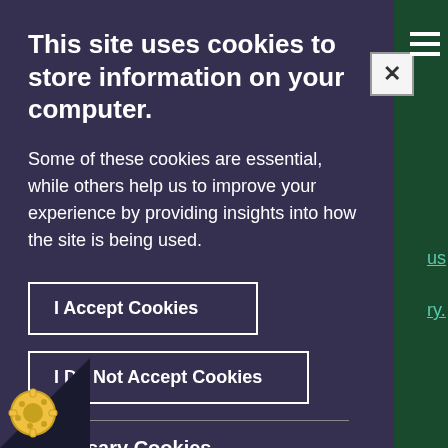This site uses cookies to store information on your computer.
Some of these cookies are essential, while others help us to improve your experience by providing insights into how the site is being used.
I Accept Cookies
I Do Not Accept Cookies
Necessary Cookies
Necessary cookies enable core functionality such as site navigation and access to secure areas.